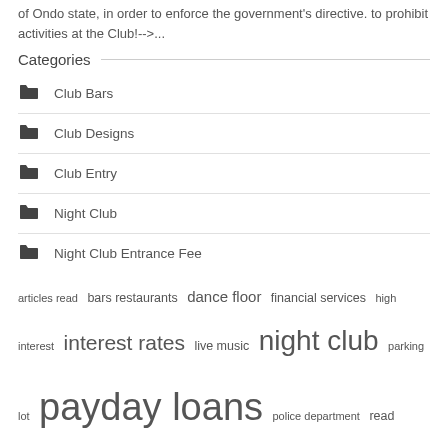of Ondo state, in order to enforce the government's directive. to prohibit activities at the Club!-->...
Categories
Club Bars
Club Designs
Club Entry
Night Club
Night Club Entrance Fee
articles read bars restaurants dance floor financial services high interest interest rates live music night club parking lot payday loans police department read related related articles restaurants bars united states
Recent Posts